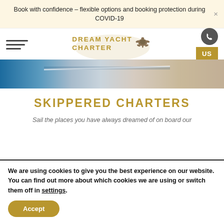Book with confidence – flexible options and booking protection during COVID-19
[Figure (logo): Dream Yacht Charter logo with turtle graphic and hamburger menu, phone button, and US country selector]
[Figure (photo): Yacht deck and sailing scene photo strip showing ocean and deck]
SKIPPERED CHARTERS
Sail the places you have always dreamed of on board our
We are using cookies to give you the best experience on our website.
You can find out more about which cookies we are using or switch them off in settings.
Accept